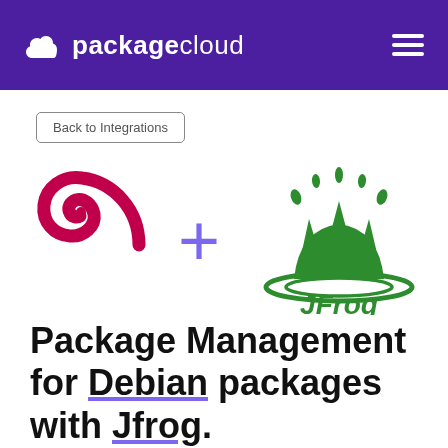packagecloud
Back to Integrations
[Figure (logo): Debian swirl logo (red) plus sign and JFrog frog logo (green) side by side]
Package Management for Debian packages with Jfrog.